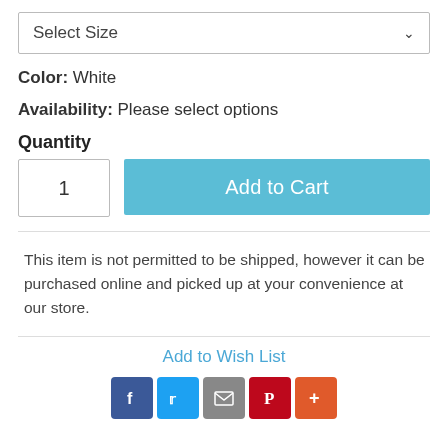Select Size
Color:  White
Availability:  Please select options
Quantity
1
Add to Cart
This item is not permitted to be shipped, however it can be purchased online and picked up at your convenience at our store.
Add to Wish List
[Figure (other): Social sharing icons: Facebook (blue), Twitter (blue), Email (grey), Pinterest (red), More/Plus (orange-red)]